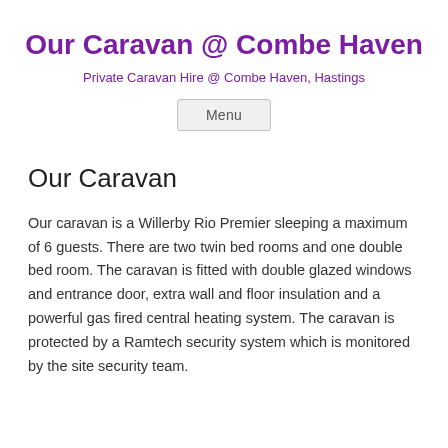Our Caravan @ Combe Haven
Private Caravan Hire @ Combe Haven, Hastings
Menu
Our Caravan
Our caravan is a Willerby Rio Premier sleeping a maximum of 6 guests. There are two twin bed rooms and one double bed room. The caravan is fitted with double glazed windows and entrance door, extra wall and floor insulation and a powerful gas fired central heating system. The caravan is protected by a Ramtech security system which is monitored by the site security team.